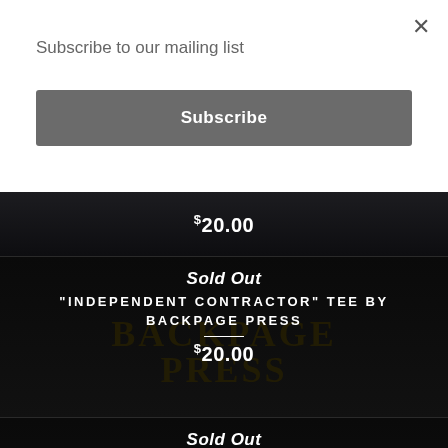Subscribe to our mailing list
Subscribe
$20.00
Sold Out
"INDEPENDENT CONTRACTOR" TEE BY BACKPAGE PRESS
$20.00
Sold Out
ARRON ASHAM "SANDMAN" TEE BY BACKPAGE PRESS
$20.00